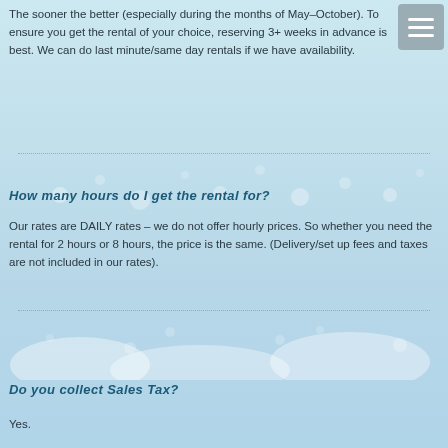The sooner the better (especially during the months of May-October). To ensure you get the rental of your choice, reserving 3+ weeks in advance is best. We can do last minute/same day rentals if we have availability.
How many hours do I get the rental for?
Our rates are DAILY rates – we do not offer hourly prices. So whether you need the rental for 2 hours or 8 hours, the price is the same. (Delivery/set up fees and taxes are not included in our rates).
Do you collect Sales Tax?
Yes.